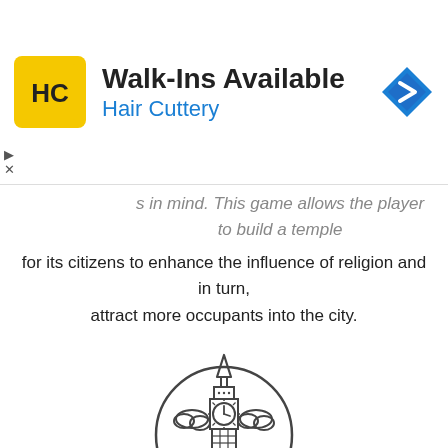[Figure (infographic): Hair Cuttery advertisement banner with HC logo in yellow square, title 'Walk-Ins Available', subtitle 'Hair Cuttery', and a blue navigation arrow icon on the right. Close controls (arrow and X) on the left side.]
s in mind. This game allows the player to build a temple for its citizens to enhance the influence of religion and in turn, attract more occupants into the city.
[Figure (illustration): Line art illustration of a Big Ben-style clock tower inside a circle, with clouds on either side.]
Happy citizens, Happy city
It is mandatory that the player also needs to pay his or her workers' wages for the construction of the players desired